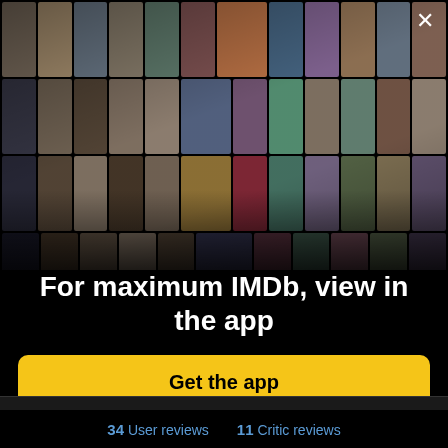[Figure (illustration): IMDb app promotional collage showing a grid of celebrity headshots and movie poster thumbnails arranged in a perspective/fan-like layout on a black background. Multiple rows of small rectangular thumbnails showing various actors and film posters.]
For maximum IMDb, view in the app
Get the app
+ Add to Watchlist
34 User reviews  11 Critic reviews